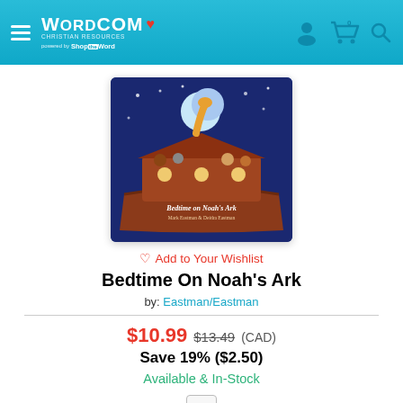Wordcom Christian Resources — powered by ShopTheWord
[Figure (photo): Book cover of 'Bedtime On Noah's Ark' showing cartoon animals on a wooden ark under a night sky with moon and stars, by Eastman/Eastman]
♡ Add to Your Wishlist
Bedtime On Noah's Ark
by: Eastman/Eastman
$10.99 $13.49 (CAD)
Save 19% ($2.50)
Available & In-Stock